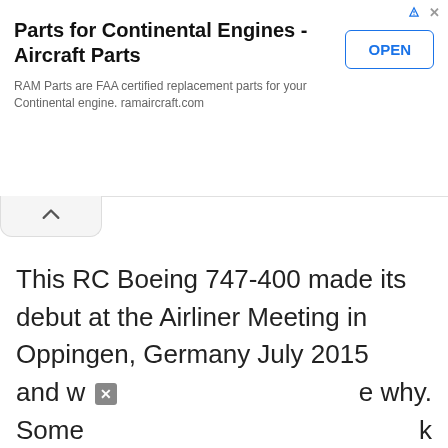[Figure (screenshot): Advertisement banner for RAM Aircraft Parts for Continental Engines with an OPEN button]
Parts for Continental Engines - Aircraft Parts
RAM Parts are FAA certified replacement parts for your Continental engine. ramaircraft.com
This RC Boeing 747-400 made its debut at the Airliner Meeting in Oppingen, Germany July 2015 and w e why. Some k